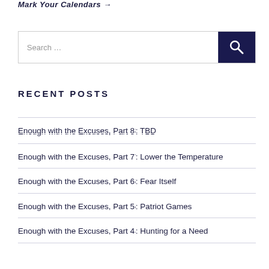Mark Your Calendars →
[Figure (other): Search bar with text input field and dark navy search button with magnifying glass icon]
RECENT POSTS
Enough with the Excuses, Part 8: TBD
Enough with the Excuses, Part 7: Lower the Temperature
Enough with the Excuses, Part 6: Fear Itself
Enough with the Excuses, Part 5: Patriot Games
Enough with the Excuses, Part 4: Hunting for a Need